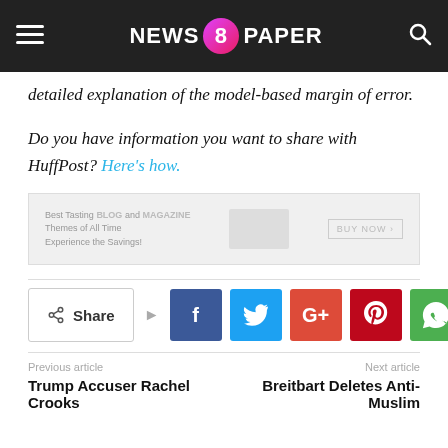NEWS 8 PAPER
detailed explanation of the model-based margin of error.
Do you have information you want to share with HuffPost? Here's how.
[Figure (other): Advertisement banner: Best Tasting BLOG and MAGAZINE Themes of All Time. Experience the Savings! BUY NOW >]
Share (social share buttons: Facebook, Twitter, Google+, Pinterest, WhatsApp)
Previous article | Next article
Trump Accuser Rachel Crooks | Breitbart Deletes Anti-Muslim